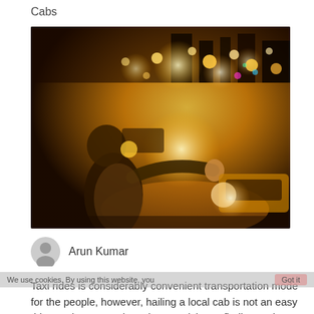Cabs
[Figure (photo): Person hailing a cab on a busy city street at night, with bright yellow headlights and bokeh street lights illuminating the scene. A yellow taxi cab is visible on the right.]
Arun Kumar
We use cookies. By using this website, you...  Got it
Taxi rides is considerably convenient transportation mode for the people, however, hailing a local cab is not an easy thing and you must have known tricks on finding and